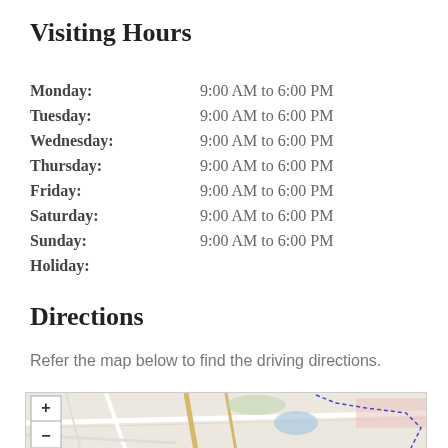Visiting Hours
| Day | Hours |
| --- | --- |
| Monday: | 9:00 AM to 6:00 PM |
| Tuesday: | 9:00 AM to 6:00 PM |
| Wednesday: | 9:00 AM to 6:00 PM |
| Thursday: | 9:00 AM to 6:00 PM |
| Friday: | 9:00 AM to 6:00 PM |
| Saturday: | 9:00 AM to 6:00 PM |
| Sunday: | 9:00 AM to 6:00 PM |
| Holiday: |  |
Directions
Refer the map below to find the driving directions.
[Figure (map): A street map showing the location with zoom controls (+ and -) in the top left corner.]